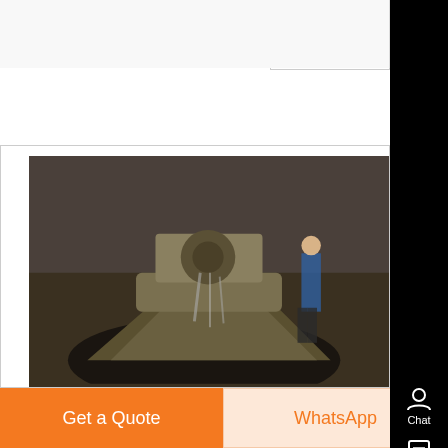Mo
[Figure (photo): Industrial cone crusher base/bowl machinery on factory floor, dark metallic equipment]
A Detailed Overview of Cone Crushers and What You ,
Jun 03, 2020 0183 32 makes five different cone crushers under its C line, as well as several other